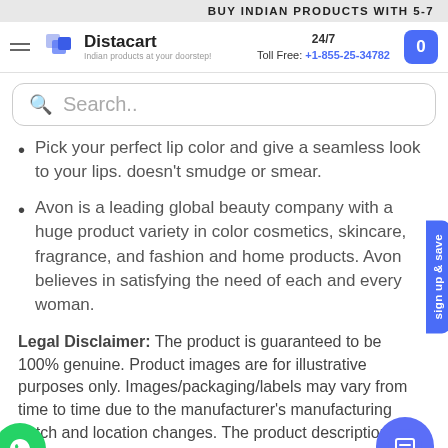BUY INDIAN PRODUCTS WITH 5-7
[Figure (logo): Distacart logo with blue layered icon and tagline 'Indian products at your doorstep!']
24/7 Toll Free: +1-855-25-34782
Search..
Pick your perfect lip color and give a seamless look to your lips. doesn't smudge or smear.
Avon is a leading global beauty company with a huge product variety in color cosmetics, skincare, fragrance, and fashion and home products. Avon believes in satisfying the need of each and every woman.
Legal Disclaimer: The product is guaranteed to be 100% genuine. Product images are for illustrative purposes only. Images/packaging/labels may vary from time to time due to the manufacturer's manufacturing batch and location changes. The product description is for